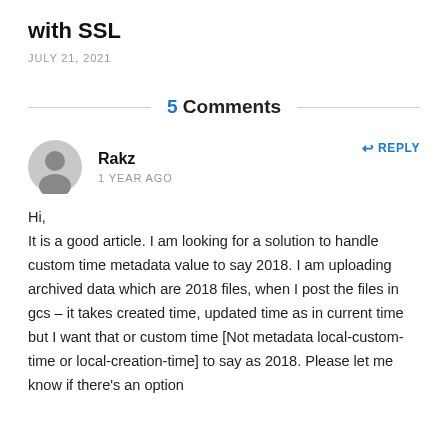with SSL
JULY 21, 2021
5 Comments
Rakz
1 YEAR AGO
Hi,
It is a good article. I am looking for a solution to handle custom time metadata value to say 2018. I am uploading archived data which are 2018 files, when I post the files in gcs – it takes created time, updated time as in current time but I want that or custom time [Not metadata local-custom-time or local-creation-time] to say as 2018. Please let me know if there's an option